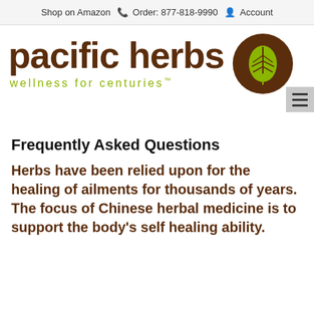Shop on Amazon   Order: 877-818-9990   Account
[Figure (logo): Pacific Herbs logo with brown text 'pacific herbs', green tagline 'wellness for centuries™', and a brown circle with a green leaf illustration]
Frequently Asked Questions
Herbs have been relied upon for the healing of ailments for thousands of years. The focus of Chinese herbal medicine is to support the body's self healing ability.